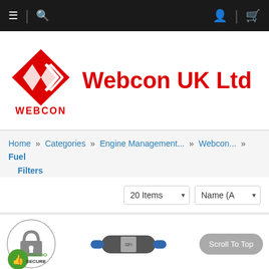Navigation bar with menu, search, account, and cart icons
[Figure (logo): Webcon UK Ltd logo with red diamond W icon and WEBCON text below, with 'Webcon UK Ltd' in large red bold text]
Home » Categories » Engine Management... » Webcon... » Fuel Filters
20 Items  Name (A
[Figure (photo): Comodo Secure trust badge with padlock icon]
[Figure (photo): Fuel filter product photo - cylindrical grey/blue filter component]
Scroll To Top